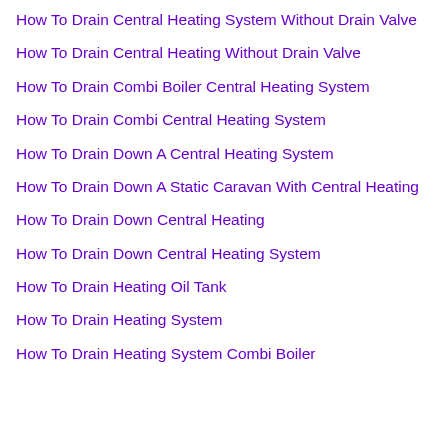How To Drain Central Heating System Without Drain Valve
How To Drain Central Heating Without Drain Valve
How To Drain Combi Boiler Central Heating System
How To Drain Combi Central Heating System
How To Drain Down A Central Heating System
How To Drain Down A Static Caravan With Central Heating
How To Drain Down Central Heating
How To Drain Down Central Heating System
How To Drain Heating Oil Tank
How To Drain Heating System
How To Drain Heating System Combi Boiler